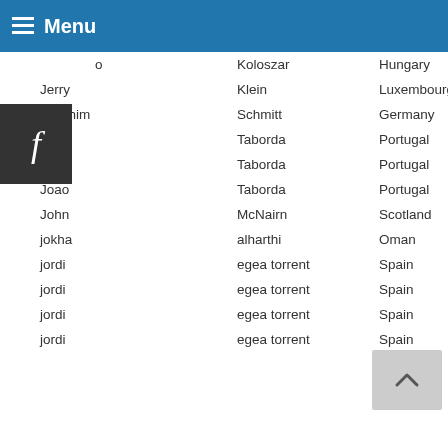Menu
| First | Last | Country | Title |
| --- | --- | --- | --- |
| Jo | Koloszar | Hungary | Fanny 1 |
| Jerry | Klein | Luxembourg | Playground |
| Joachim | Schmitt | Germany | Spiegelbrille |
| Joao | Taborda | Portugal | Climb the Mountain |
| Joao | Taborda | Portugal | Learning |
| Joao | Taborda | Portugal | The New World |
| John | McNairn | Scotland | Lulu Drapes |
| jokha | alharthi | Oman | girl and apple |
| jordi | egea torrent | Spain | munyint |
| jordi | egea torrent | Spain | dones |
| jordi | egea torrent | Spain | pastora |
| jordi | egea torrent | Spain | dona i radio |